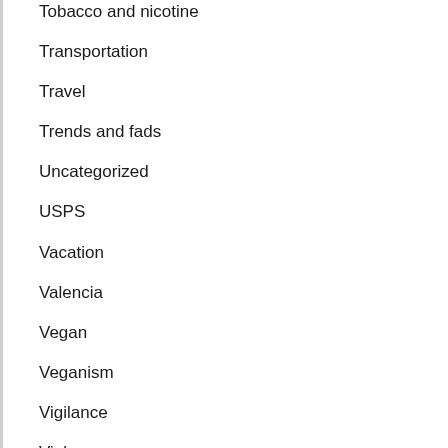Tobacco and nicotine
Transportation
Travel
Trends and fads
Uncategorized
USPS
Vacation
Valencia
Vegan
Veganism
Vigilance
Violence
Visitors